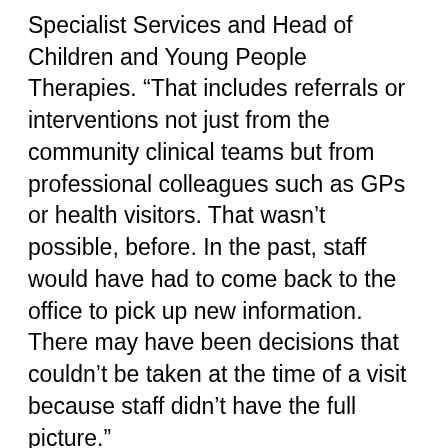Specialist Services and Head of Children and Young People Therapies. “That includes referrals or interventions not just from the community clinical teams but from professional colleagues such as GPs or health visitors. That wasn’t possible, before. In the past, staff would have had to come back to the office to pick up new information. There may have been decisions that couldn’t be taken at the time of a visit because staff didn’t have the full picture.”
The children’s services team can spend three quarters of its time out of the office, working at schools or visiting clients in their homes, so remote, real-time access saves valuable time, enables staff to be more productive and gives them greater control over their working day. The time saved means that community nurses can now